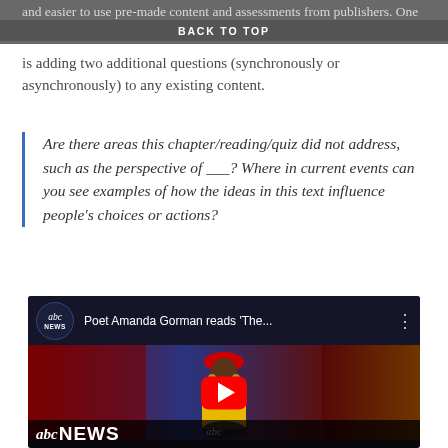BACK TO TOP
and easier to use pre-made content and assessments from publishers. One small but powerful change you can make is adding two additional questions (synchronously or asynchronously) to any existing content.
Are there areas this chapter/reading/quiz did not address, such as the perspective of ___? Where in current events can you see examples of how the ideas in this text influence people's choices or actions?
[Figure (screenshot): YouTube video thumbnail showing ABC News video titled 'Poet Amanda Gorman reads The...' with a person at a podium wearing a yellow jacket and red beret, with a red YouTube play button overlay. ABC News logo visible at bottom left with 'abc NEWS' text.]